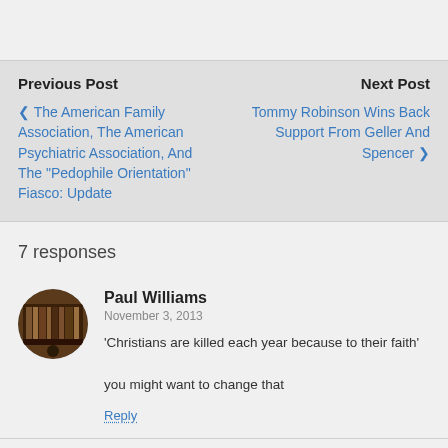Previous Post | Next Post
‹ The American Family Association, The American Psychiatric Association, And The "Pedophile Orientation" Fiasco: Update
Tommy Robinson Wins Back Support From Geller And Spencer ›
7 responses
Paul Williams
November 3, 2013
'Christians are killed each year because to their faith'

you might want to change that
Reply
Richard Bartholomew
November 3, 2013